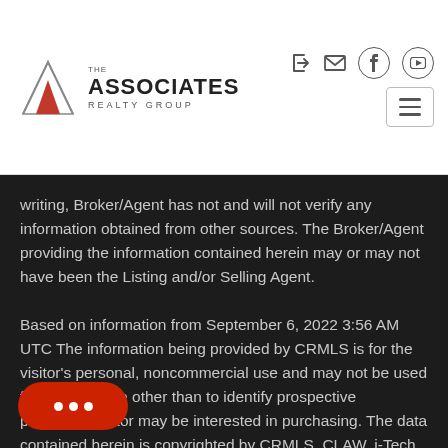[Figure (logo): The Associates Realty Group logo with a red triangle/mountain graphic and bold text]
writing, Broker/Agent has not and will not verify any information obtained from other sources. The Broker/Agent providing the information contained herein may or may not have been the Listing and/or Selling Agent.

Based on information from September 6, 2022 3:56 AM UTC The information being provided by CRMLS is for the visitor's personal, noncommercial use and may not be used for any purpose other than to identify prospective properties visitor may be interested in purchasing. The data contained herein is copyrighted by CRMLS, CLAW, i-Tech MLS, PSRMLS and/or VCRDS and is protected by copyright laws. Any dissemination of this information is in violation of copyright laws and is strictly